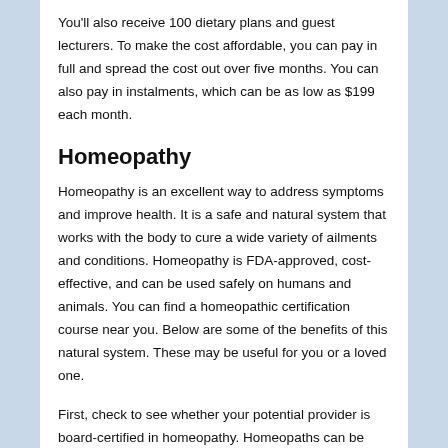You'll also receive 100 dietary plans and guest lecturers. To make the cost affordable, you can pay in full and spread the cost out over five months. You can also pay in instalments, which can be as low as $199 each month.
Homeopathy
Homeopathy is an excellent way to address symptoms and improve health. It is a safe and natural system that works with the body to cure a wide variety of ailments and conditions. Homeopathy is FDA-approved, cost-effective, and can be used safely on humans and animals. You can find a homeopathic certification course near you. Below are some of the benefits of this natural system. These may be useful for you or a loved one.
First, check to see whether your potential provider is board-certified in homeopathy. Homeopaths can be self-trained or may have taken a short training course to become a homeopath. Using homeopathy is beneficial for self-care, but